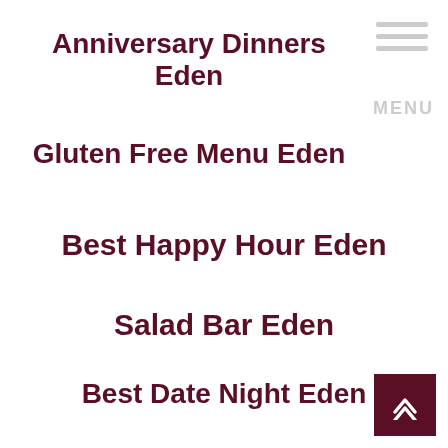Anniversary Dinners Eden
Gluten Free Menu Eden
Best Happy Hour Eden
Salad Bar Eden
Best Date Night Eden
Vegetarian Menu Eden